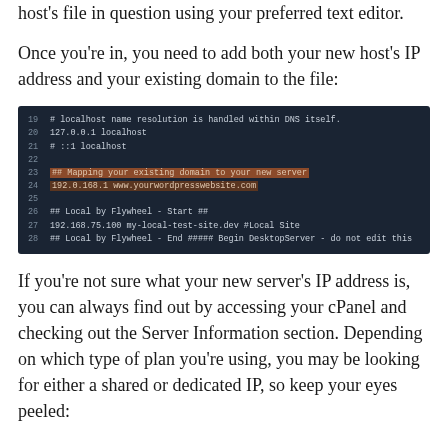host's file in question using your preferred text editor.
Once you're in, you need to add both your new host's IP address and your existing domain to the file:
[Figure (screenshot): Terminal/code editor screenshot showing hosts file contents with lines 19-28, including localhost entries and a highlighted line mapping 192.0.168.1 to www.yourwordpresswebsite.com]
If you're not sure what your new server's IP address is, you can always find out by accessing your cPanel and checking out the Server Information section. Depending on which type of plan you're using, you may be looking for either a shared or dedicated IP, so keep your eyes peeled: